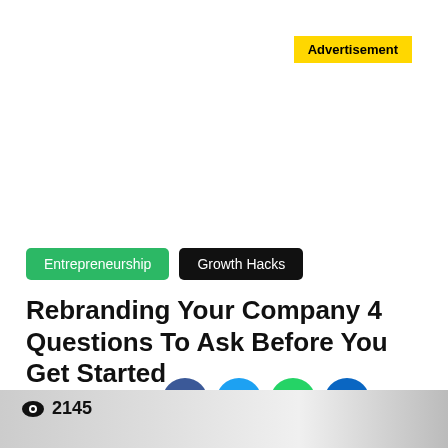Advertisement
Entrepreneurship
Growth Hacks
Rebranding Your Company 4 Questions To Ask Before You Get Started
Share Us
2145
[Figure (photo): Bottom portion of a workspace/office photo showing desks and sticky notes]